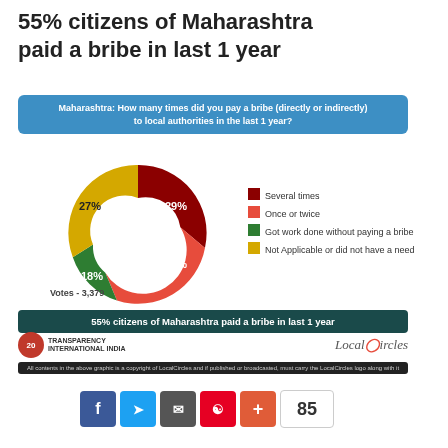55% citizens of Maharashtra paid a bribe in last 1 year
Maharashtra: How many times did you pay a bribe (directly or indirectly) to local authorities in the last 1 year?
[Figure (donut-chart): Maharashtra bribe survey]
Votes - 3,379
55% citizens of Maharashtra paid a bribe in last 1 year
[Figure (logo): Transparency International India logo (20 years) and LocalCircles logo]
All contents in the above graphic is a copyright of LocalCircles and if published or broadcasted, must carry the LocalCircles logo along with it